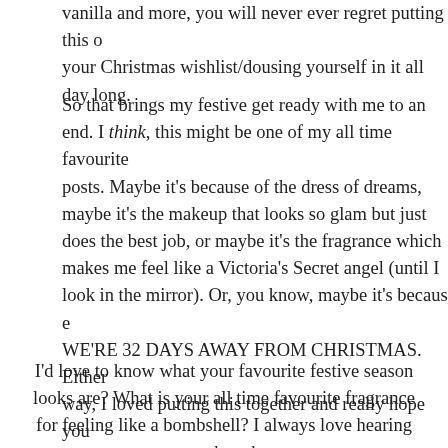vanilla and more, you will never ever regret putting this on your Christmas wishlist/dousing yourself in it all day long.
So that brings my festive get ready with me to an end. I think, this might be one of my all time favourite posts. Maybe it's because of the dress of dreams, maybe it's the makeup that looks so glam but just does the best job, or maybe it's the fragrance which makes me feel like a Victoria's Secret angel (until I look in the mirror). Or, you know, maybe it's because WE'RE 32 DAYS AWAY FROM CHRISTMAS. Either way, I loved putting this together and really hope you enjoyed it too.
I'd love to know what your favourite festive season looks are? What is your all time favourite fragrance for feeling like a bombshell? I always love hearing your thoughts.